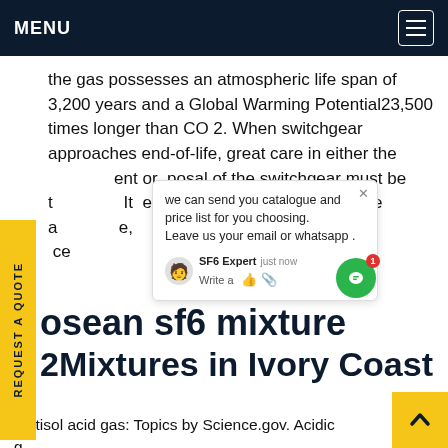MENU
the gas possesses an atmospheric life span of 3,200 years and a Global Warming Potential23,500 times longer than CO 2. When switchgear approaches end-of-life, great care in either the retirement or disposal of the switchgear must be taken. It none of the SF6 is released into the atmosphere, ce
[Figure (screenshot): Chat popup overlay with message: we can send you catalogue and price list for you choosing. Leave us your email or whatsapp . SF6 Expert just now. Write a [thumbs up] [paperclip] icons. Green chat circle button with badge showing 1.]
osean sf6 mixture 2Mixtures in Ivory Coast
rectisol acid gas: Topics by Science.gov. Acidic gas capture by diamines. DOEpatents. Rochelle, Gary [Austin, TX; Hilliard, Marcus [Missouri City, TX. 2011-05-